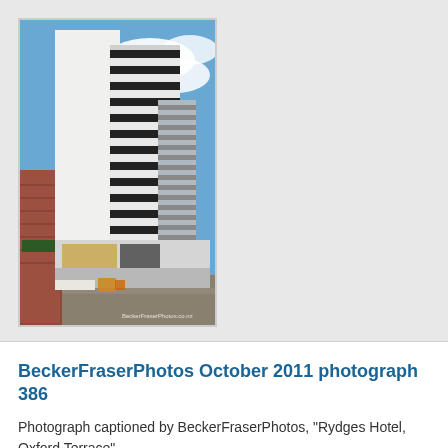[Figure (photo): Tall modern building with alternating black and white horizontal striped facade against a blue sky. Building has a lower podium section with glass windows. Urban street scene with older brick buildings visible on the left side. Watermark text reads BeckerFraserPhotos.co.nz.]
BeckerFraserPhotos October 2011 photograph 386
Photograph captioned by BeckerFraserPhotos, "Rydges Hotel, Oxford Terrace".